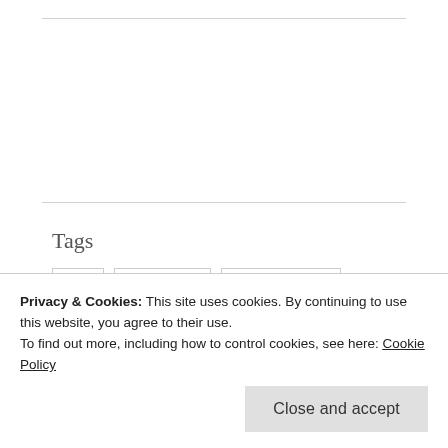Tags
ART
BLOGGING
BLOGGING101
BUSINESS
CREATIVE WRITING
Privacy & Cookies: This site uses cookies. By continuing to use this website, you agree to their use.
To find out more, including how to control cookies, see here: Cookie Policy
Close and accept